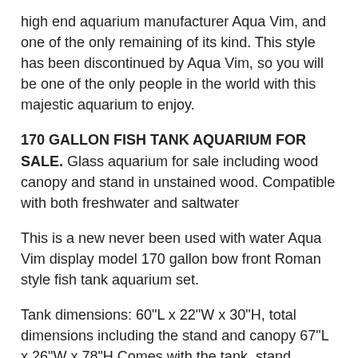high end aquarium manufacturer Aqua Vim, and one of the only remaining of its kind. This style has been discontinued by Aqua Vim, so you will be one of the only people in the world with this majestic aquarium to enjoy.
170 GALLON FISH TANK AQUARIUM FOR SALE. Glass aquarium for sale including wood canopy and stand in unstained wood. Compatible with both freshwater and saltwater
This is a new never been used with water Aqua Vim display model 170 gallon bow front Roman style fish tank aquarium set.
Tank dimensions: 60"L x 22"W x 30"H, total dimensions including the stand and canopy 67"L x 26"W x 78"H Comes with the tank, stand, canopy, and PVC piping. There is a built-in center overflow box with predrilled holes (1" return, 1.5" drain)